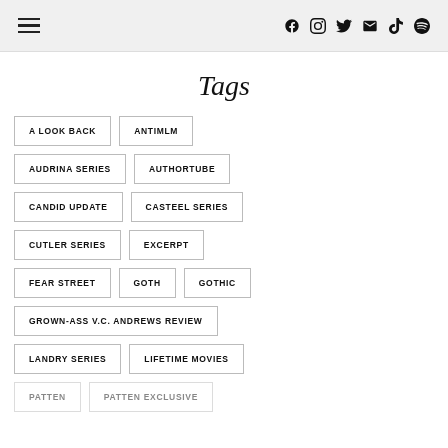Navigation and social icons header
Tags
A LOOK BACK
ANTIMLM
AUDRINA SERIES
AUTHORTUBE
CANDID UPDATE
CASTEEL SERIES
CUTLER SERIES
EXCERPT
FEAR STREET
GOTH
GOTHIC
GROWN-ASS V.C. ANDREWS REVIEW
LANDRY SERIES
LIFETIME MOVIES
PATTEN
PATTEN EXCLUSIVE